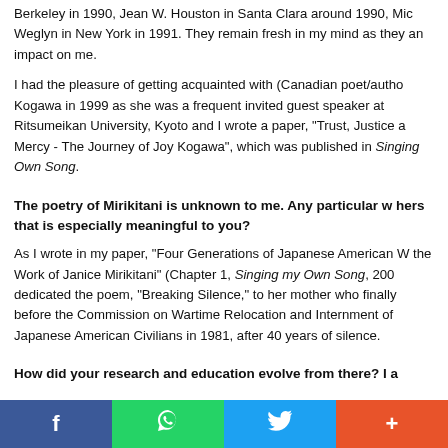Berkeley in 1990, Jean W. Houston in Santa Clara around 1990, Michi Weglyn in New York in 1991. They remain fresh in my mind as they had an impact on me.
I had the pleasure of getting acquainted with (Canadian poet/author) Joy Kogawa in 1999 as she was a frequent invited guest speaker at Ritsumeikan University, Kyoto and I wrote a paper, “Trust, Justice and Mercy - The Journey of Joy Kogawa”, which was published in Singing my Own Song.
The poetry of Mirikitani is unknown to me. Any particular work of hers that is especially meaningful to you?
As I wrote in my paper, “Four Generations of Japanese American Women: the Work of Janice Mirikitani” (Chapter 1, Singing my Own Song, 2006) she dedicated the poem, “Breaking Silence,” to her mother who finally testified before the Commission on Wartime Relocation and Internment of Japanese American Civilians in 1981, after 40 years of silence.
How did your research and education evolve from there? I a